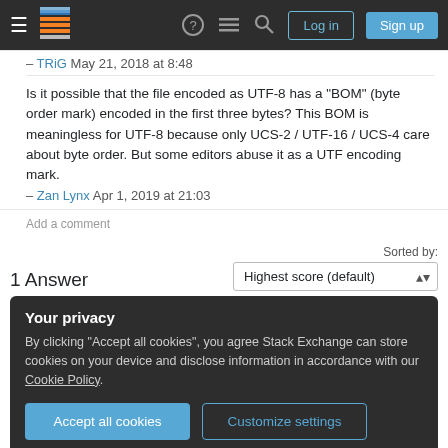Stack Exchange navigation bar with Log in and Sign up buttons
– TRiG May 21, 2018 at 8:48
Is it possible that the file encoded as UTF-8 has a "BOM" (byte order mark) encoded in the first three bytes? This BOM is meaningless for UTF-8 because only UCS-2 / UTF-16 / UCS-4 care about byte order. But some editors abuse it as a UTF encoding mark.
– Zan Lynx Apr 1, 2019 at 21:03
Add a comment
1 Answer
Sorted by: Highest score (default)
Your privacy
By clicking "Accept all cookies", you agree Stack Exchange can store cookies on your device and disclose information in accordance with our Cookie Policy.
Accept all cookies   Customize settings